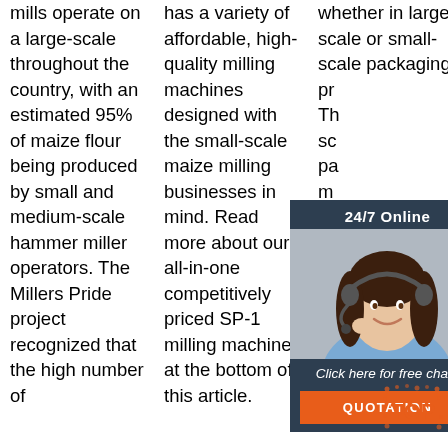mills operate on a large-scale throughout the country, with an estimated 95% of maize flour being produced by small and medium-scale hammer miller operators. The Millers Pride project recognized that the high number of
has a variety of affordable, high-quality milling machines designed with the small-scale maize milling businesses in mind. Read more about our all-in-one competitively priced SP-1 milling machine at the bottom of this article.
whether in large-scale or small-scale packaging pr... Th... sc... pa... m... to... in... be... their unparalleled efficacy. They consume moderate
[Figure (other): Customer service overlay widget with 24/7 Online header, photo of a woman wearing a headset, 'Click here for free chat!' text, and an orange QUOTATION button.]